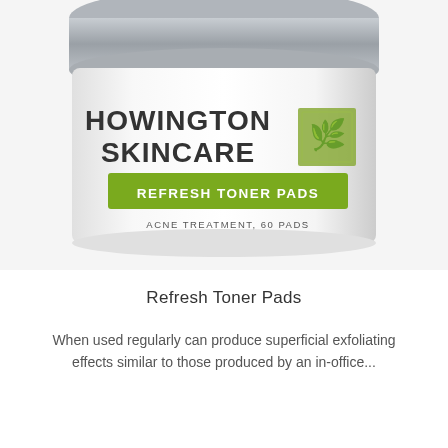[Figure (photo): Howington Skincare Refresh Toner Pads product jar with silver lid, white body, green label band reading REFRESH TONER PADS, and text ACNE TREATMENT, 60 PADS]
Refresh Toner Pads
When used regularly can produce superficial exfoliating effects similar to those produced by an in-office...